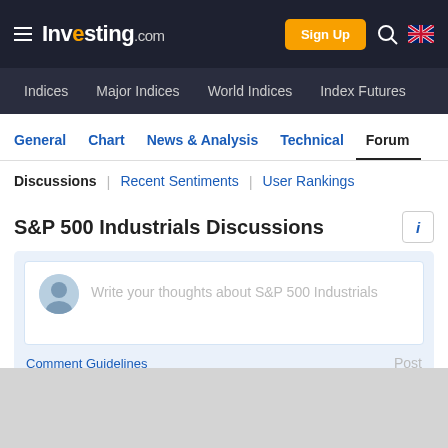Investing.com | Sign Up | Search
Indices | Major Indices | World Indices | Index Futures
General | Chart | News & Analysis | Technical | Forum
Discussions | Recent Sentiments | User Rankings
S&P 500 Industrials Discussions
Write your thoughts about S&P 500 Industrials
Comment Guidelines | Post
ADVERTISEMENT